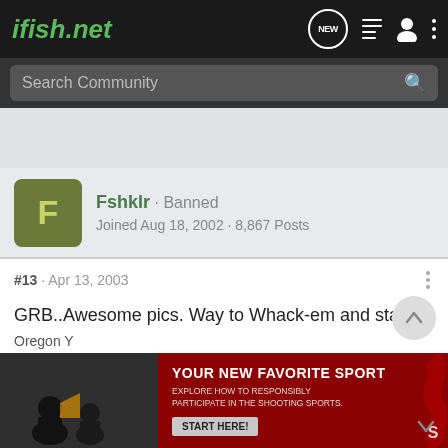ifish.net
Search Community
Fshklr · Banned
Joined Aug 18, 2002 · 8,867 Posts
#13 · Apr 13, 2003
GRB..Awesome pics. Way to Whack-em and stack-em
:bowdown:  :bowdown:
[Figure (screenshot): Advertisement banner: photo of people on left, dark red background on right with text YOUR NEW FAVORITE SPORT, EXPLORE HOW TO RESPONSIBLY PARTICIPATE IN THE SHOOTING SPORTS. START HERE!]
Oregon Y